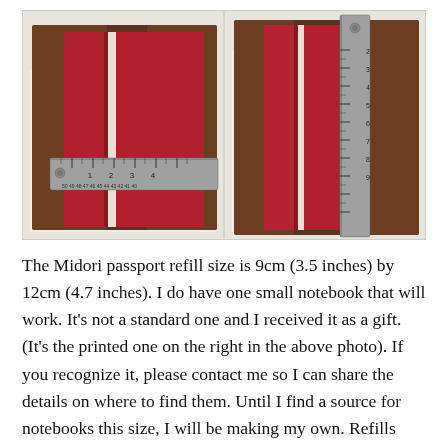[Figure (photo): Two side-by-side photos of a red notebook inside a brown leather cover, each showing a metal ruler measuring the notebook dimensions. Left photo shows the width measured horizontally (~3.5 inches / 9cm). Right photo shows the height measured vertically (~12cm / 4.7 inches).]
The Midori passport refill size is 9cm (3.5 inches) by 12cm (4.7 inches). I do have one small notebook that will work. It's not a standard one and I received it as a gift. (It's the printed one on the right in the above photo). If you recognize it, please contact me so I can share the details on where to find them. Until I find a source for notebooks this size, I will be making my own. Refills won't need to be perfect either – I can probably whip several together.